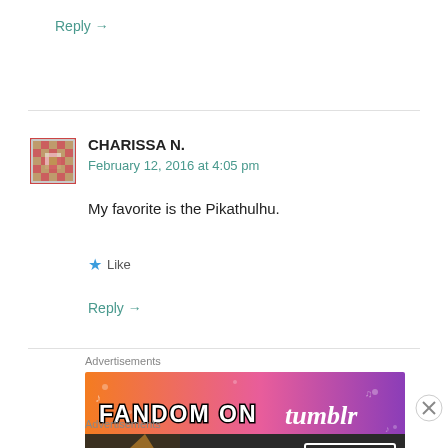Reply →
CHARISSA N.
February 12, 2016 at 4:05 pm
My favorite is the Pikathulhu.
★ Like
Reply →
Advertisements
[Figure (photo): Tumblr Fandom advertisement banner with orange to purple gradient and text 'FANDOM ON tumblr']
Advertisements
[Figure (photo): Seamless food ordering advertisement with pizza image, red Seamless logo, and 'ORDER NOW' button]